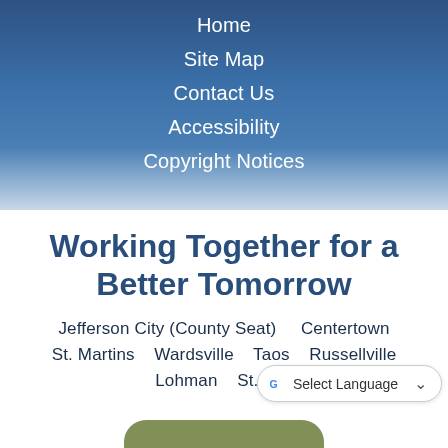Home
Site Map
Contact Us
Accessibility
Copyright Notices
Working Together for a Better Tomorrow
Jefferson City (County Seat)    Centertown
St. Martins    Wardsville    Taos    Russellville
Lohman    St. Tho...